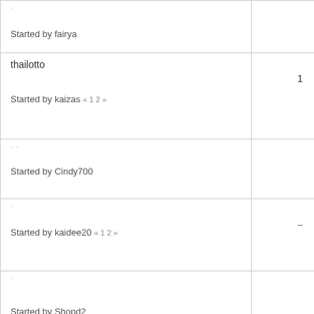| (topic row 1) | Started by fairya |  |
| thailotto | Started by kaizas «1 2» | 1 |
| (topic row 3) | Started by Cindy700 |  |
| (topic row 4) | Started by kaidee20 «1 2» | – |
| (topic row 5) | Started by Shopd2 |  |
| (topic row 6) | Group | By CCT |